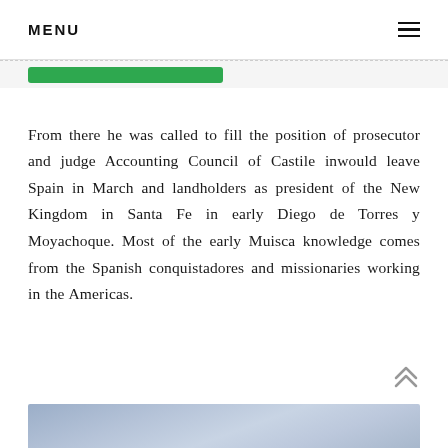MENU
From there he was called to fill the position of prosecutor and judge Accounting Council of Castile inwould leave Spain in March and landholders as president of the New Kingdom in Santa Fe in early Diego de Torres y Moyachoque. Most of the early Muisca knowledge comes from the Spanish conquistadores and missionaries working in the Americas.
[Figure (photo): Partial view of a photo at the bottom of the page, showing a light blue/grey textured surface, possibly a textile or stone artifact.]